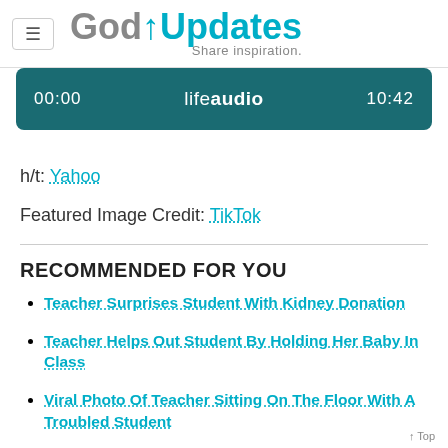GodUpdates — Share inspiration.
[Figure (screenshot): Audio player bar showing lifeaudio branding with timestamp 00:00 on left and 10:42 on right, dark teal background]
h/t: Yahoo
Featured Image Credit: TikTok
RECOMMENDED FOR YOU
Teacher Surprises Student With Kidney Donation
Teacher Helps Out Student By Holding Her Baby In Class
Viral Photo Of Teacher Sitting On The Floor With A Troubled Student